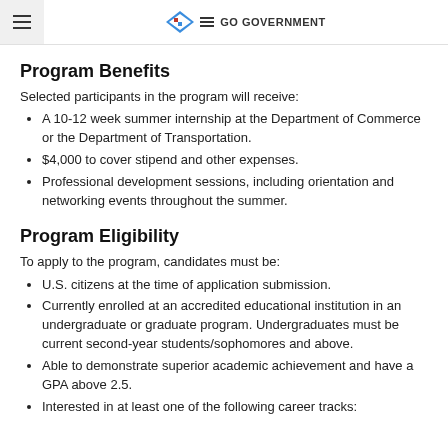GO GOVERNMENT
Program Benefits
Selected participants in the program will receive:
A 10-12 week summer internship at the Department of Commerce or the Department of Transportation.
$4,000 to cover stipend and other expenses.
Professional development sessions, including orientation and networking events throughout the summer.
Program Eligibility
To apply to the program, candidates must be:
U.S. citizens at the time of application submission.
Currently enrolled at an accredited educational institution in an undergraduate or graduate program. Undergraduates must be current second-year students/sophomores and above.
Able to demonstrate superior academic achievement and have a GPA above 2.5.
Interested in at least one of the following career tracks: